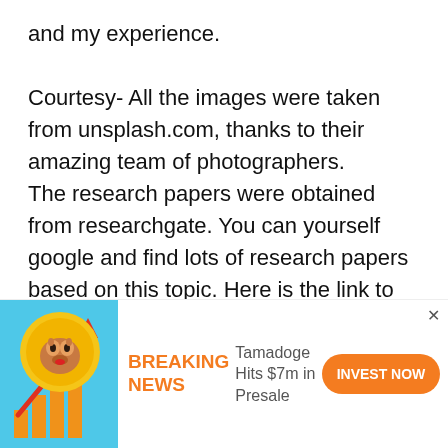and my experience.
Courtesy- All the images were taken from unsplash.com, thanks to their amazing team of photographers.
The research papers were obtained from researchgate. You can yourself google and find lots of research papers based on this topic. Here is the link to one such paper-
[Figure (infographic): Advertisement banner for Tamadoge cryptocurrency featuring a cartoon dog coin with an upward arrow and bar chart. Text reads BREAKING NEWS, Tamadoge Hits $7m in Presale, with an orange INVEST NOW button. Ad label in top left, close X button in top right.]